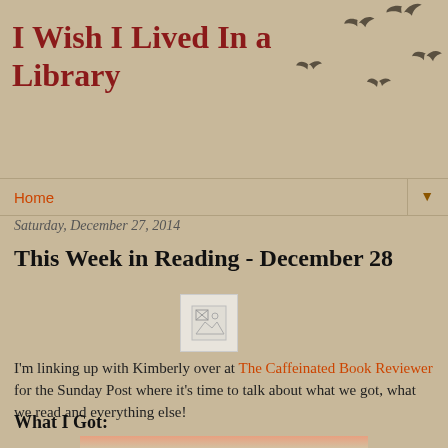I Wish I Lived In a Library
[Figure (illustration): Flying birds silhouette decorative header illustration, dark gray birds on tan background]
Home
Saturday, December 27, 2014
This Week in Reading - December 28
[Figure (photo): Broken/placeholder image icon]
I'm linking up with Kimberly over at The Caffeinated Book Reviewer for the Sunday Post where it's time to talk about what we got, what we read and everything else!
What I Got:
[Figure (photo): Partial photo of an ornate street lamp against a pinkish sky background]